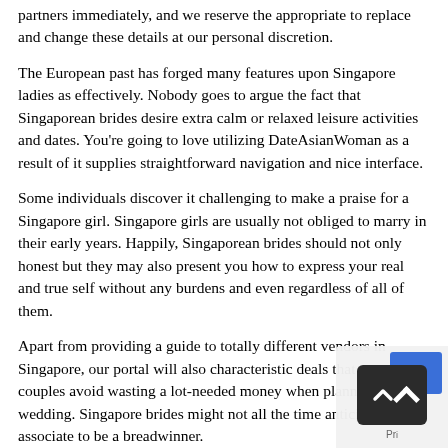partners immediately, and we reserve the appropriate to replace and change these details at our personal discretion.
The European past has forged many features upon Singapore ladies as effectively. Nobody goes to argue the fact that Singaporean brides desire extra calm or relaxed leisure activities and dates. You’re going to love utilizing DateAsianWoman as a result of it supplies straightforward navigation and nice interface.
Some individuals discover it challenging to make a praise for a Singapore girl. Singapore girls are usually not obliged to marry in their early years. Happily, Singaporean brides should not only honest but they may also present you how to express your real and true self without any burdens and even regardless of all of them.
Apart from providing a guide to totally different vendors in Singapore, our portal will also characteristic deals that can assist couples avoid wasting a lot-needed money when planning their wedding. Singapore brides might not all the time anticipate their associate to be a breadwinner.
Within the Singapore culture, you will need to meet a lady’s hou... as a result of family is so important and essential to her. Meet t... well liked Singapore girls straight after creating your own profile... from, many of the Singaporean brides are extremely easy going and are...